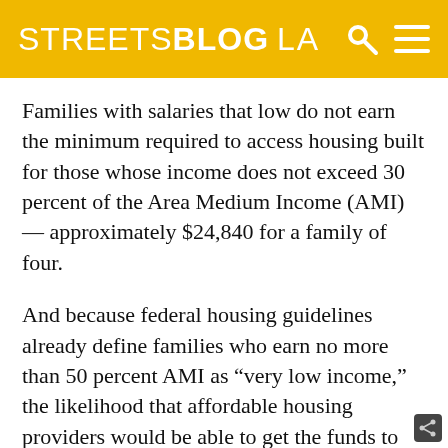STREETSBLOG LA
Families with salaries that low do not earn the minimum required to access housing built for those whose income does not exceed 30 percent of the Area Medium Income (AMI) — approximately $24,840 for a family of four.
And because federal housing guidelines already define families who earn no more than 50 percent AMI as “very low income,” the likelihood that affordable housing providers would be able to get the funds to build for the many families who fall below the 30 percent threshold is rather slim.
Realizing that it might not be possible to attract a developer who could build for Boyle Heights’ most